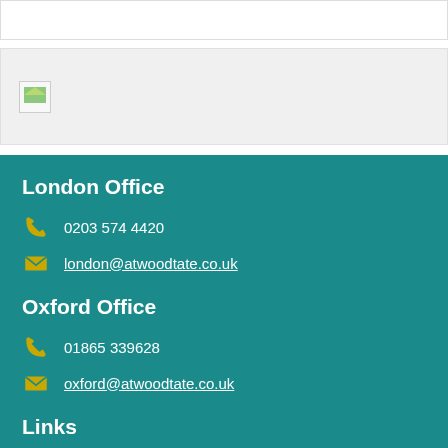[Figure (logo): Company logo image placeholder in a light grey box]
London Office
0203 574 4420
london@atwoodtate.co.uk
Oxford Office
01865 339628
oxford@atwoodtate.co.uk
Links